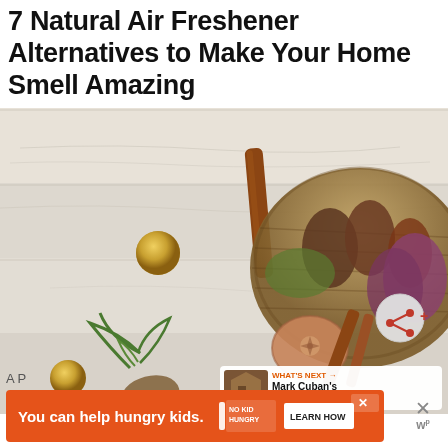7 Natural Air Freshener Alternatives to Make Your Home Smell Amazing
[Figure (photo): Flat lay photo on white wood background showing natural items: cinnamon sticks, a dried apple slice, pine cones, dried flowers, green herbs/ferns, gold ornament balls, all arranged near a woven basket filled with pine cones and botanicals. A share button (red circle with share icon) overlays the bottom right, plus a 'What's Next' card showing Mark Cuban's Million-Dolla...]
You can help hungry kids.
LEARN HOW